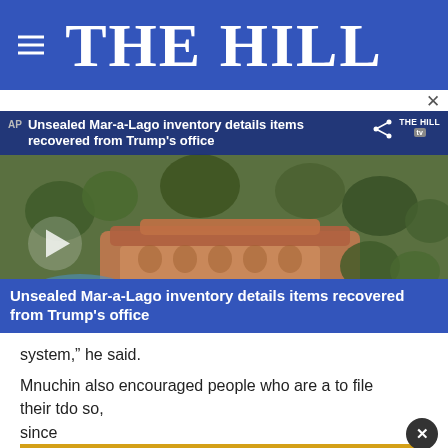THE HILL
[Figure (screenshot): Video thumbnail showing aerial view of Mar-a-Lago estate with overlay title: 'Unsealed Mar-a-Lago inventory details items recovered from Trump's office'. The Hill TV watermark visible. Share icon in top right. Play button in center. Bottom blue bar repeats the title.]
system,” he said.
Mnuchin also encouraged people who are a… to file their t… do so, since…
[Figure (other): Advertisement banner: BUZZED AND DOING SOMETHING TO MAKE YOURSELF OKAY TO DRIVE?]